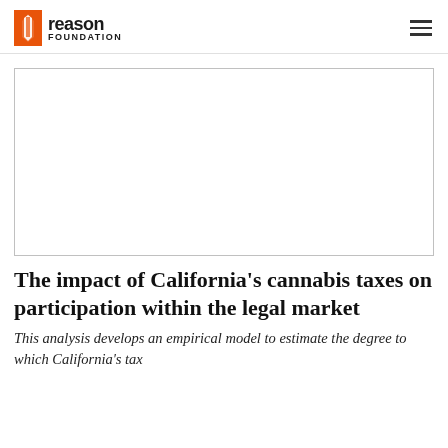Reason Foundation
[Figure (photo): Blank/white rectangular image placeholder with a thin gray border, representing an article featured image.]
The impact of California’s cannabis taxes on participation within the legal market
This analysis develops an empirical model to estimate the degree to which California’s tax